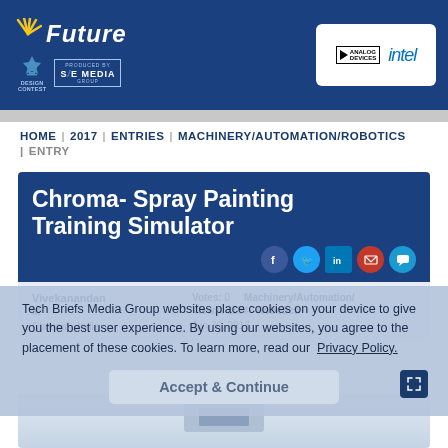Future Design Contest — Produced by SAE Media Group | Sponsors: Analog Devices, Intel
HOME | 2017 | ENTRIES | MACHINERY/AUTOMATION/ROBOTICS | ENTRY
Chroma- Spray Painting Training Simulator
Vivekanandan M  Votes: 0  Machinery/Automation/ Robotics  Views: 1194  Chennai, India  Jun 30, 2017
Tech Briefs Media Group websites place cookies on your device to give you the best user experience. By using our websites, you agree to the placement of these cookies. To learn more, read our Privacy Policy.
Accept & Continue